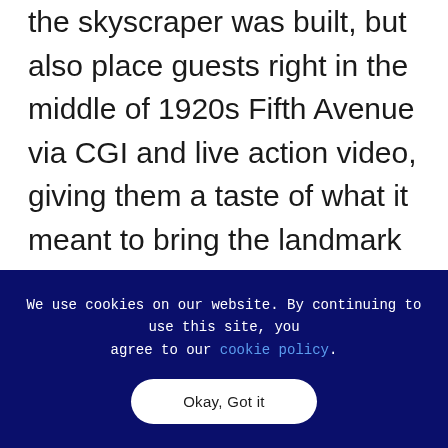the skyscraper was built, but also place guests right in the middle of 1920s Fifth Avenue via CGI and live action video, giving them a taste of what it meant to bring the landmark to the city at that time. Then, after seeing how the building was conceptualized, guests are ushered into a fully immersive experience of the building's construction with animated photography displayed across four LED video walls and an LED ceiling, accented by ambient surround sound that brings them right into the scene. Additional LED displays throughout the exhibit, paired with
We use cookies on our website. By continuing to use this site, you agree to our cookie policy.
Okay, Got it